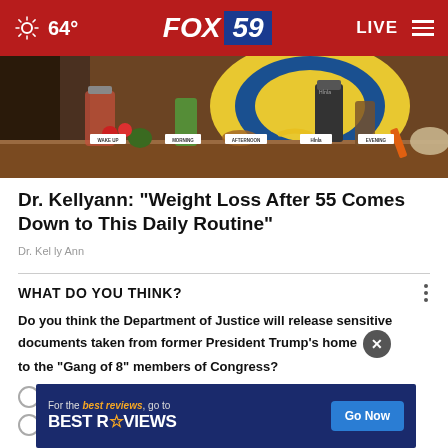64° FOX 59 LIVE
[Figure (photo): Food items and blenders arranged on a table with labels: WAKE UP, MORNING, AFTERNOON, EVENING, and another label. Colorful fruits, vegetables, smoothies displayed in a TV studio setting with blue and yellow background.]
Dr. Kellyann: "Weight Loss After 55 Comes Down to This Daily Routine"
Dr. Kelly Ann
WHAT DO YOU THINK?
Do you think the Department of Justice will release sensitive documents taken from former President Trump's home to the "Gang of 8" members of Congress?
[Figure (other): Advertisement banner: 'For the best reviews, go to BESTREVIEWS' with a 'Go Now' button. Dark blue background.]